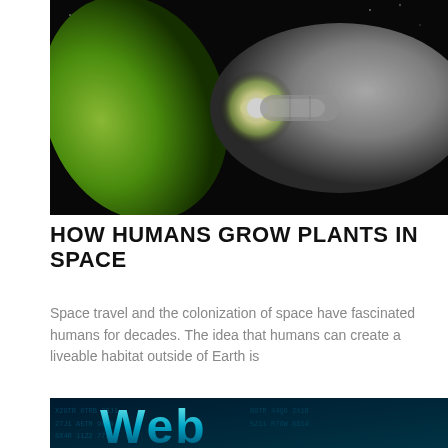[Figure (photo): A glowing green plant leaf touching a white-gloved human hand, set against a dark space-like background with bright light at the contact point — reminiscent of Michelangelo's Creation of Adam.]
HOW HUMANS GROW PLANTS IN SPACE
Space travel and the colonization of space have fascinated humans for decades. The idea that humans can create a liveable habitat outside of Earth is
[Figure (photo): A stylized 'Web' text graphic with glowing blue-teal letters on a dark digital/code background.]